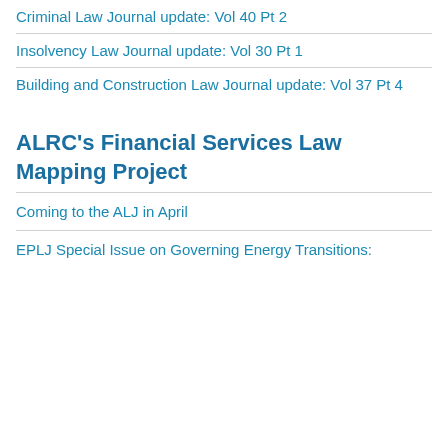Criminal Law Journal update: Vol 40 Pt 2
Insolvency Law Journal update: Vol 30 Pt 1
Building and Construction Law Journal update: Vol 37 Pt 4
ALRC's Financial Services Law Mapping Project
Coming to the ALJ in April
EPLJ Special Issue on Governing Energy Transitions: